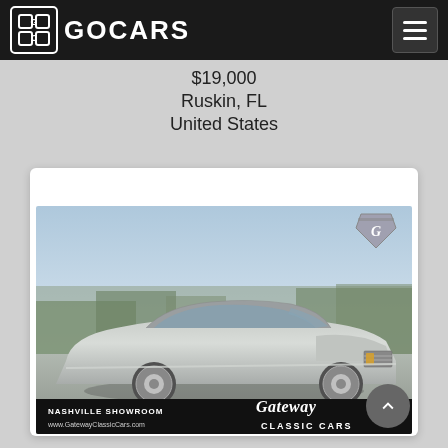GOCARS
$19,000
Ruskin, FL
United States
[Figure (photo): Classic silver/grey vintage car (appears to be a 1960s Chevrolet Impala or similar) photographed outdoors on pavement with trees in background. Gateway Classic Cars Nashville Showroom watermark and logo visible. Shield-shaped Gateway Classic Cars logo in upper right corner of photo.]